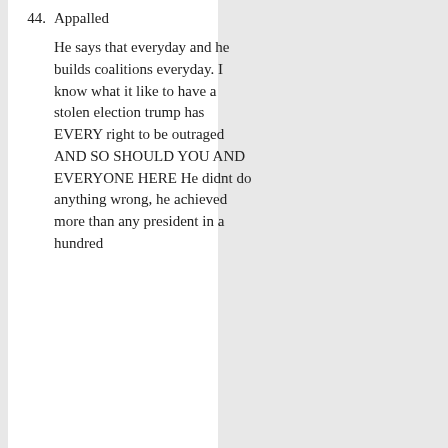44. Appalled

He says that everyday and he builds coalitions everyday. I know what it like to have a stolen election trump has EVERY right to be outraged AND SO SHOULD YOU AND EVERYONE HERE He didnt do anything wrong, he achieved more than any president in a hundred